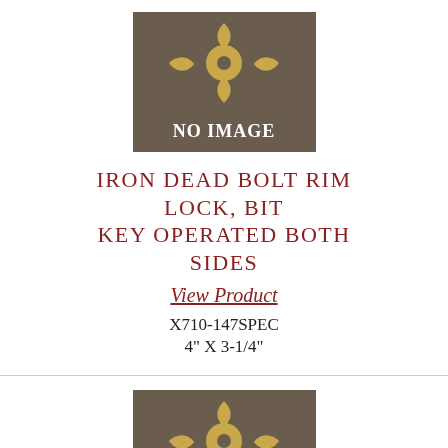[Figure (illustration): No image placeholder with ornamental cross/fleur-de-lis emblem on brown background with 'NO IMAGE' text]
IRON DEAD BOLT RIM LOCK, BIT KEY OPERATED BOTH SIDES
View Product
X710-147SPEC
4" X 3-1/4"
[Figure (illustration): No image placeholder with ornamental cross/fleur-de-lis emblem on brown background with 'NO IMAGE' text]